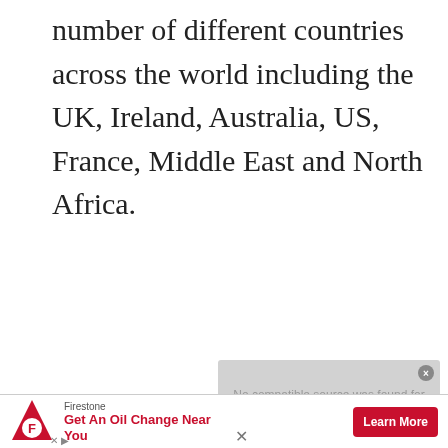number of different countries across the world including the UK, Ireland, Australia, US, France, Middle East and North Africa.
[Figure (screenshot): Video player overlay showing 'No compatible source was found for this media.' with a close button (x) in top right corner, gray background.]
[Figure (screenshot): Firestone advertisement banner: logo on left, 'Get An Oil Change Near You' text in red, 'Learn More' red button on right. Controls (X, play) at bottom left, X close at bottom center.]